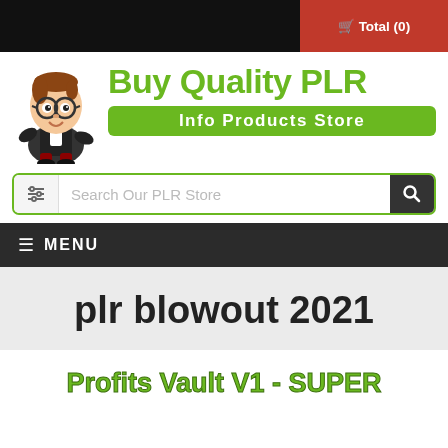Total (0)
[Figure (logo): Buy Quality PLR - Info Products Store logo with cartoon mascot character wearing glasses and suit]
Search Our PLR Store
MENU
plr blowout 2021
Profits Vault V1 - SUPER